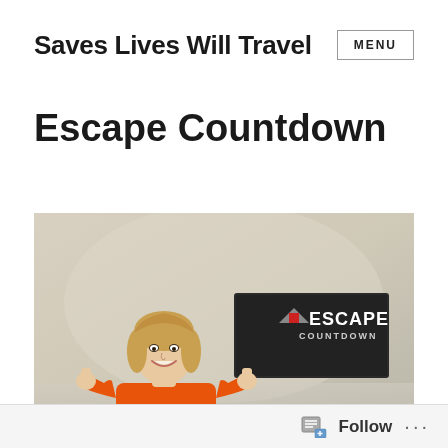Saves Lives Will Travel | MENU
Escape Countdown
[Figure (photo): A woman in an orange shirt smiling and giving thumbs up gesture, standing in front of an 'Escape Countdown' branded sign on a wall in what appears to be an escape room venue lobby.]
Follow ...